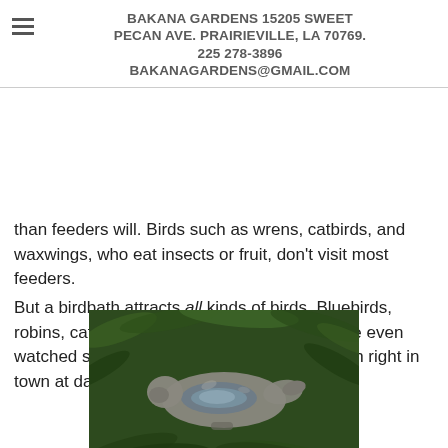BAKANA GARDENS 15205 SWEET PECAN AVE. PRAIRIEVILLE, LA 70769. 225 278-3896 BAKANAGARDENS@GMAIL.COM
than feeders will. Birds such as wrens, catbirds, and waxwings, who eat insects or fruit, don't visit most feeders.
But a birdbath attracts all kinds of birds. Bluebirds, robins, catbirds, warblers and thrushes. We've even watched screech owls drinking from a birdbath right in town at dawn.
[Figure (photo): A stone or ceramic bird-shaped birdbath sitting in green fern foliage]